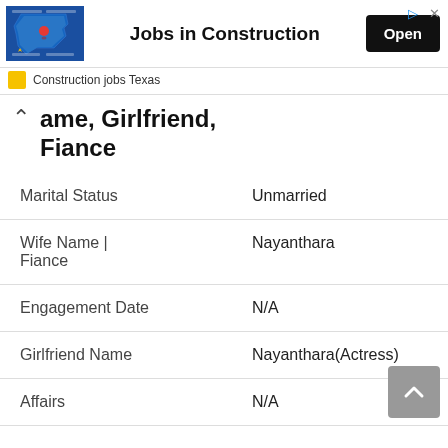[Figure (screenshot): Advertisement banner for Construction Jobs Texas app, showing a Texas map graphic, bold text 'Jobs in Construction', and an 'Open' button. Below shows a small icon and text 'Construction jobs Texas'.]
Name, Girlfriend, Fiance
| Marital Status | Unmarried |
| Wife Name | Fiance | Nayanthara |
| Engagement Date | N/A |
| Girlfriend Name | Nayanthara(Actress) |
| Affairs | N/A |